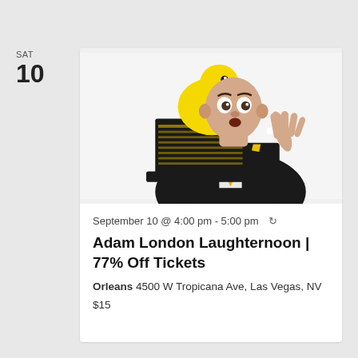SAT
10
[Figure (photo): Comedy magician in black suit with yellow tie holding a black top hat with a large yellow rubber duck on top, looking surprised, white background.]
September 10 @ 4:00 pm - 5:00 pm
Adam London Laughternoon | 77% Off Tickets
Orleans 4500 W Tropicana Ave, Las Vegas, NV
$15